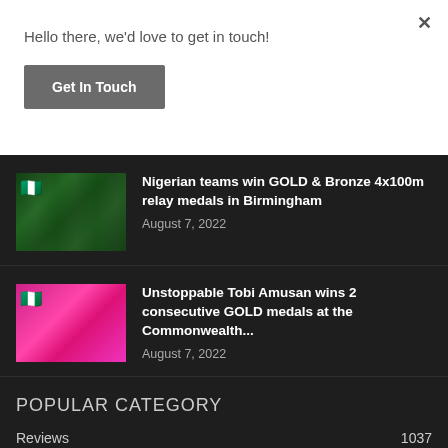Hello there, we'd love to get in touch!
Get In Touch
Nigerian teams win GOLD & Bronze 4x100m relay medals in Birmingham
August 7, 2022
Unstoppable Tobi Amusan wins 2 consecutive GOLD medals at the Commonwealth...
August 7, 2022
POPULAR CATEGORY
Reviews 1037